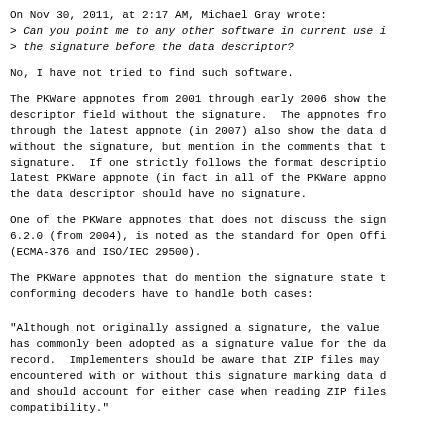On Nov 30, 2011, at 2:17 AM, Michael Gray wrote:
> Can you point me to any other software in current use i
> the signature before the data descriptor?
No, I have not tried to find such software.
The PKWare appnotes from 2001 through early 2006 show the descriptor field without the signature.  The appnotes fro through the latest appnote (in 2007) also show the data d without the signature, but mention in the comments that t signature.  If one strictly follows the format descriptio latest PKWare appnote (in fact in all of the PKWare appno the data descriptor should have no signature.
One of the PKWare appnotes that does not discuss the sign 6.2.0 (from 2004), is noted as the standard for Open Offi (ECMA-376 and ISO/IEC 29500).
The PKWare appnotes that do mention the signature state t conforming decoders have to handle both cases:
"Although not originally assigned a signature, the value has commonly been adopted as a signature value for the da record.  Implementers should be aware that ZIP files may encountered with or without this signature marking data d and should account for either case when reading ZIP files compatibility."